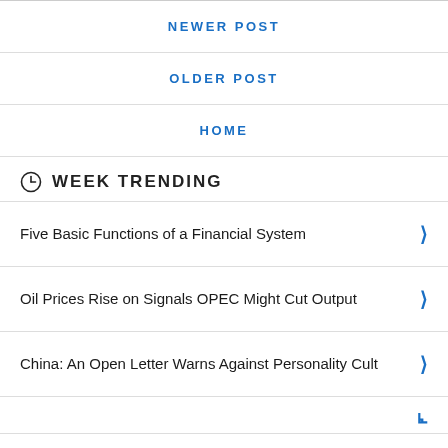NEWER POST
OLDER POST
HOME
WEEK TRENDING
Five Basic Functions of a Financial System
Oil Prices Rise on Signals OPEC Might Cut Output
China: An Open Letter Warns Against Personality Cult